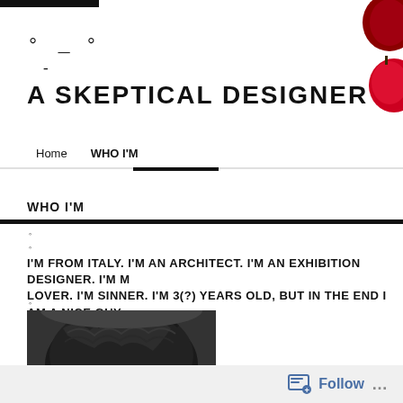A SKEPTICAL DESIGNER
[Figure (photo): Red apples partially visible in top right corner]
A SKEPTICAL DESIGNER
Home  WHO I'M
WHO I'M
I'M FROM ITALY. I'M AN ARCHITECT. I'M AN EXHIBITION DESIGNER. I'M M... LOVER. I'M SINNER. I'M 3(?) YEARS OLD, BUT IN THE END I AM A NICE GUY.
[Figure (photo): Close-up photo of a person's dark curly hair, top of head visible]